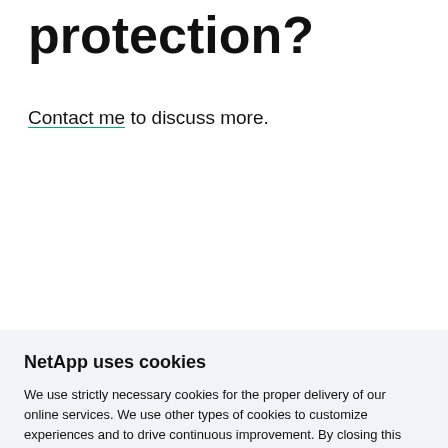protection?
Contact me to discuss more.
Ryan Foster
NetApp uses cookies
We use strictly necessary cookies for the proper delivery of our online services. We use other types of cookies to customize experiences and to drive continuous improvement. By closing this banner or by browsing this site, you agree and accept the use of cookies in accordance with our policy.
Accept all cookies
Cookie settings